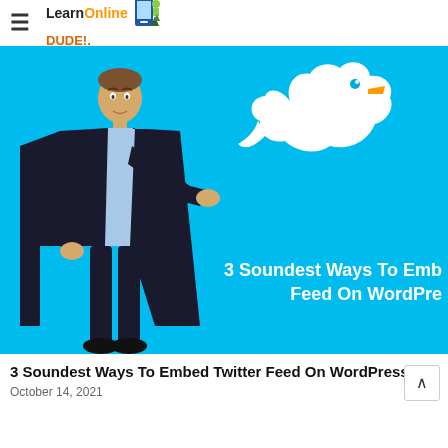≡  LearnOnlineDUDE!
[Figure (illustration): Hero banner image with cyan/blue background showing a faceless man in a black suit and light blue shirt pointing to the right toward a large white Twitter bird logo. Text overlay reads '3 Soundest Ways To Embed Twitter Feed On WordPress']
3 Soundest Ways To Embed Twitter Feed On WordPress
October 14, 2021